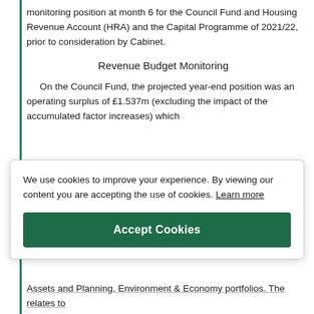monitoring position at month 6 for the Council Fund and Housing Revenue Account (HRA) and the Capital Programme of 2021/22, prior to consideration by Cabinet.
Revenue Budget Monitoring
On the Council Fund, the projected year-end position was an operating surplus of £1.537m (excluding the impact of the accumulated factor increases) which
We use cookies to improve your experience. By viewing our content you are accepting the use of cookies. Learn more
Accept Cookies
Assets and Planning, Environment & Economy portfolios. The relates to